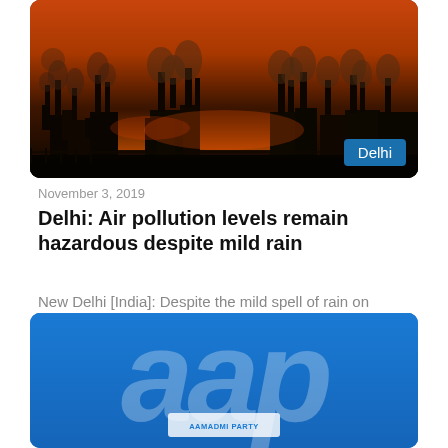[Figure (photo): Industrial pollution scene with smoke stacks against an orange-red sunset sky, with a 'Delhi' badge in the bottom right corner]
November 3, 2019
Delhi: Air pollution levels remain hazardous despite mild rain
New Delhi [India]: Despite the mild spell of rain on Sunday morning, Delhiites received no respite from the severe pollution levels in the city. According to the data provided by System of…
[Figure (photo): AAP (Aam Aadmi Party) logo on blue background with large white 'aap' letters and party branding below]